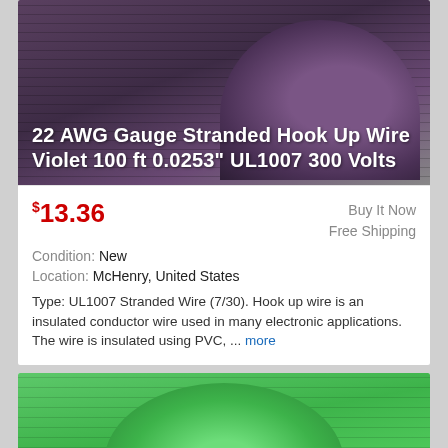[Figure (photo): Spool of purple/violet 22 AWG stranded hook up wire]
22 AWG Gauge Stranded Hook Up Wire Violet 100 ft 0.0253" UL1007 300 Volts
$13.36 | Buy It Now | Free Shipping
Condition: New
Location: McHenry, United States
Type: UL1007 Stranded Wire (7/30). Hook up wire is an insulated conductor wire used in many electronic applications. The wire is insulated using PVC, ... more
[Figure (photo): Spool of green 12awg 12ga silver plated Teflon stranded wire]
12awg 12ga silver plated Teflon Stranded wire gre...